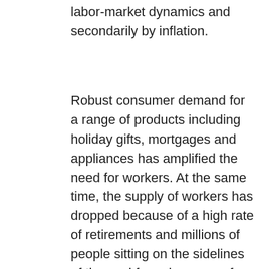labor-market dynamics and secondarily by inflation.
Robust consumer demand for a range of products including holiday gifts, mortgages and appliances has amplified the need for workers. At the same time, the supply of workers has dropped because of a high rate of retirements and millions of people sitting on the sidelines of the workforce because of burnout, Covid-19 fears and child-care issues, among other reasons.
Amanda Richardson decided this year to give 10% raises to all U.S. employees at CoderPad, a software company. The increase, for around 40 staffers, will be divided into two 5% increases, one in April